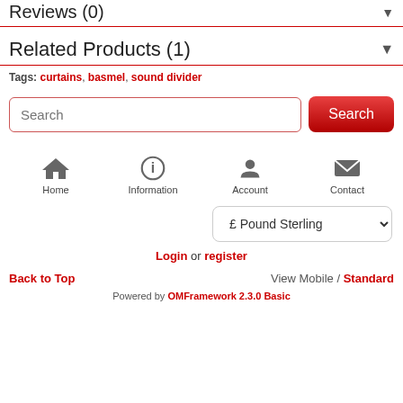Reviews (0)
Related Products (1)
Tags: curtains, basmel, sound divider
Search [input] Search [button]
[Figure (infographic): Navigation icons: Home, Information, Account, Contact]
£ Pound Sterling [dropdown]
Login or register
Back to Top   View Mobile / Standard
Powered by OMFramework 2.3.0 Basic